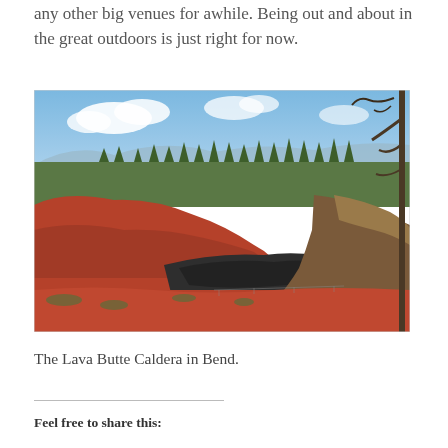any other big venues for awhile. Being out and about in the great outdoors is just right for now.
[Figure (photo): Outdoor landscape photograph showing the Lava Butte Caldera in Bend, Oregon. View from the rim of a volcanic crater with red/brown rocky slopes descending into a depression filled with dark lava rocks. Dense pine forest extends across the middle distance, with mountains and blue sky with white clouds in the background. A dead tree trunk is visible on the right edge.]
The Lava Butte Caldera in Bend.
Feel free to share this: